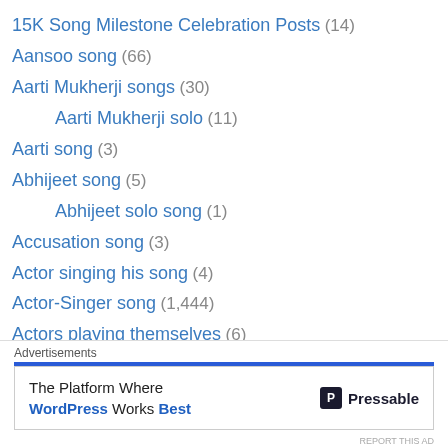15K Song Milestone Celebration Posts (14)
Aansoo song (66)
Aarti Mukherji songs (30)
Aarti Mukherji solo (11)
Aarti song (3)
Abhijeet song (5)
Abhijeet solo song (1)
Accusation song (3)
Actor singing his song (4)
Actor-Singer song (1,444)
Actors playing themselves (6)
Adnan Sami Song (1)
Air Force Song (1)
Akhil Sachdeva Songs (1)
Alisha Chinoy Songs (1)
Alka Yagnik Song (41)
Advertisements
The Platform Where WordPress Works Best — Pressable